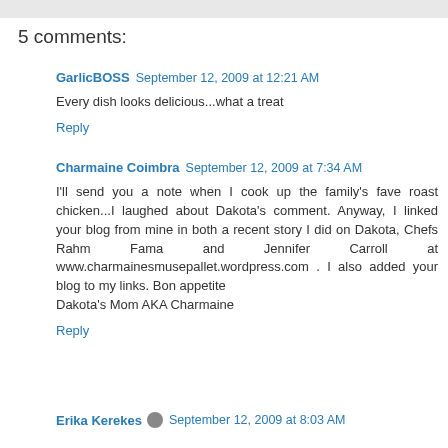5 comments:
GarlicBOSS September 12, 2009 at 12:21 AM
Every dish looks delicious...what a treat
Reply
Charmaine Coimbra September 12, 2009 at 7:34 AM
I'll send you a note when I cook up the family's fave roast chicken...I laughed about Dakota's comment. Anyway, I linked your blog from mine in both a recent story I did on Dakota, Chefs Rahm Fama and Jennifer Carroll at www.charmainesmusepallet.wordpress.com . I also added your blog to my links. Bon appetite
Dakota's Mom AKA Charmaine
Reply
Erika Kerekes September 12, 2009 at 8:03 AM